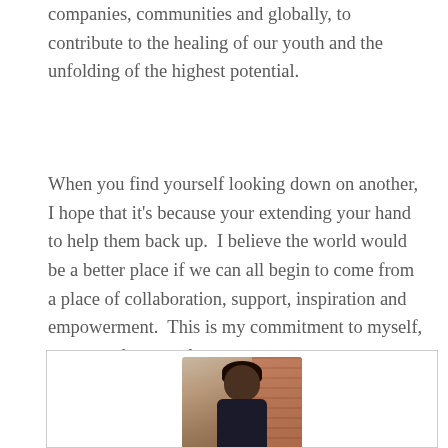companies, communities and globally, to contribute to the healing of our youth and the unfolding of the highest potential.
When you find yourself looking down on another, I hope that it’s because your extending your hand to help them back up.  I believe the world would be a better place if we can all begin to come from a place of collaboration, support, inspiration and empowerment.  This is my commitment to myself, to you and to our planet.
[Figure (photo): Photo of a woman with dark hair, shown from shoulders up, with a brick wall background visible]